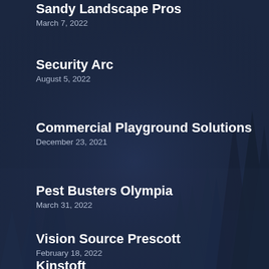Sandy Landscape Pros
March 7, 2022
Security Arc
August 5, 2022
Commercial Playground Solutions
December 23, 2021
Pest Busters Olympia
March 31, 2022
Vision Source Prescott
February 18, 2022
Kinstoft...